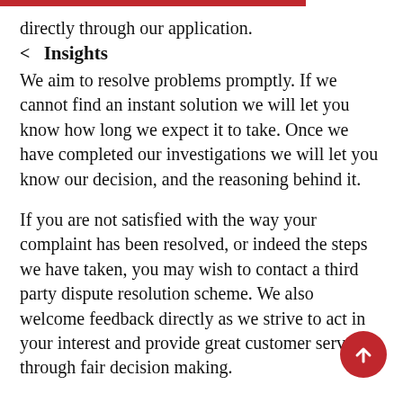directly through our application.
< Insights
We aim to resolve problems promptly. If we cannot find an instant solution we will let you know how long we expect it to take. Once we have completed our investigations we will let you know our decision, and the reasoning behind it.
If you are not satisfied with the way your complaint has been resolved, or indeed the steps we have taken, you may wish to contact a third party dispute resolution scheme. We also welcome feedback directly as we strive to act in your interest and provide great customer service through fair decision making.